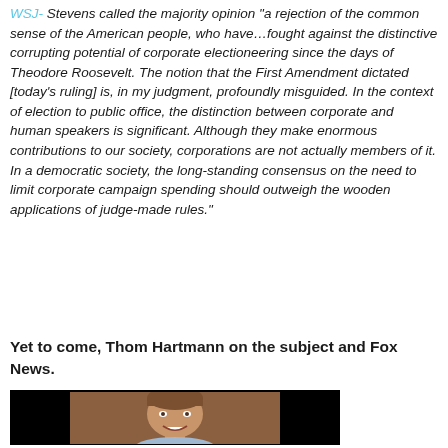WSJ- Stevens called the majority opinion "a rejection of the common sense of the American people, who have…fought against the distinctive corrupting potential of corporate electioneering since the days of Theodore Roosevelt. The notion that the First Amendment dictated [today's ruling] is, in my judgment, profoundly misguided. In the context of election to public office, the distinction between corporate and human speakers is significant. Although they make enormous contributions to our society, corporations are not actually members of it. In a democratic society, the long-standing consensus on the need to limit corporate campaign spending should outweigh the wooden applications of judge-made rules."
Yet to come, Thom Hartmann on the subject and Fox News.
[Figure (photo): A man with brown hair smiling, shown from shoulders up against a dark background]